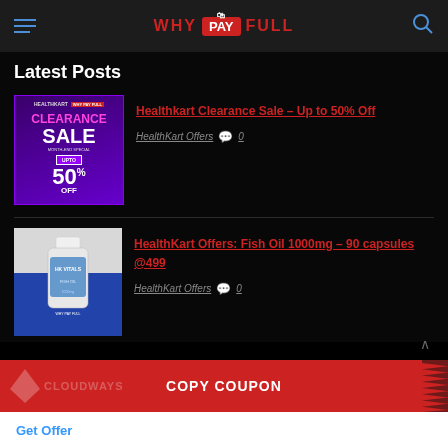WHY PAY FULL
Latest Posts
[Figure (illustration): Clearance Sale promotional banner thumbnail showing purple background with 'CLEARANCE SALE MONTH-END SPECIAL UPTO 50% OFF' text]
Healthkart Clearance Sale – Up to 50% Off
HealthKart Offers  0
[Figure (photo): HealthKart HK Vitals Fish Oil supplement bottle on blue and grey background with WHY PAY FULL logo]
HealthKart Offers: Fish Oil 1000mg – 90 capsules @499
HealthKart Offers  0
[Figure (other): Red COPY COUPON banner with Cloudways logo overlay and serrated edge]
Get Offer